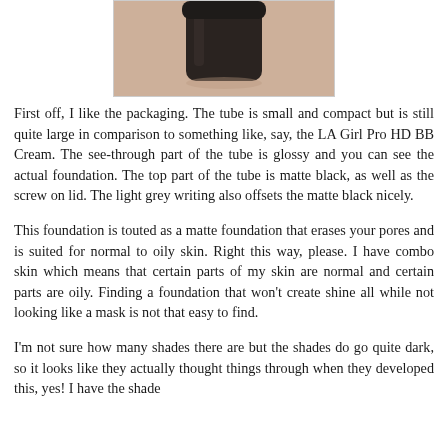[Figure (photo): Partial photo of a dark matte black cylindrical tube/container of foundation, cropped at top, showing the matte black cap and part of the tube body against a beige/pink background.]
First off, I like the packaging. The tube is small and compact but is still quite large in comparison to something like, say, the LA Girl Pro HD BB Cream. The see-through part of the tube is glossy and you can see the actual foundation. The top part of the tube is matte black, as well as the screw on lid. The light grey writing also offsets the matte black nicely.
This foundation is touted as a matte foundation that erases your pores and is suited for normal to oily skin. Right this way, please. I have combo skin which means that certain parts of my skin are normal and certain parts are oily. Finding a foundation that won't create shine all while not looking like a mask is not that easy to find.
I'm not sure how many shades there are but the shades do go quite dark, so it looks like they actually thought things through when they developed this, yes! I have the shade